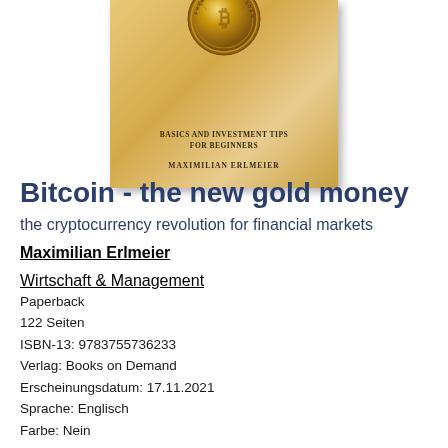[Figure (illustration): Book cover for 'Bitcoin - the new gold money' by Maximilian Erlmeier, showing a gold bitcoin coin at top and subtitle 'Basics and Investment Tips for Beginners' on a gold/tan background]
Bitcoin - the new gold money
the cryptocurrency revolution for financial markets
Maximilian Erlmeier
Wirtschaft & Management
Paperback
122 Seiten
ISBN-13: 9783755736233
Verlag: Books on Demand
Erscheinungsdatum: 17.11.2021
Sprache: Englisch
Farbe: Nein